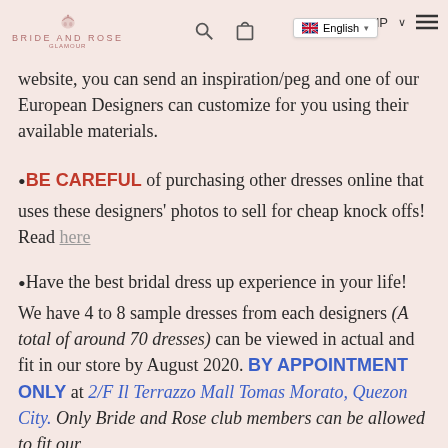BRIDE AND ROSE | English | PHP | search | cart | menu
website, you can send an inspiration/peg and one of our European Designers can customize for you using their available materials.
BE CAREFUL of purchasing other dresses online that uses these designers' photos to sell for cheap knock offs! Read here
Have the best bridal dress up experience in your life! We have 4 to 8 sample dresses from each designers (A total of around 70 dresses) can be viewed in actual and fit in our store by August 2020. BY APPOINTMENT ONLY at 2/F Il Terrazzo Mall Tomas Morato, Quezon City. Only Bride and Rose club members can be allowed to fit our